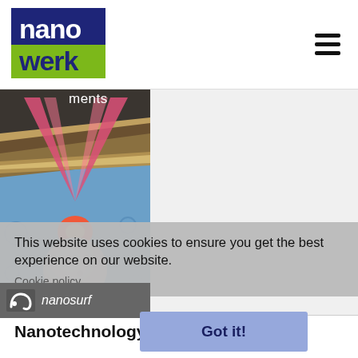nanowerk
[Figure (photo): Scientific illustration of a laser-based nanotechnology instrument with V-shaped red/pink laser beams hitting a metallic tip or probe above a spherical nanoparticle, against a blue background. Partial text 'ments' visible at top.]
This website uses cookies to ensure you get the best experience on our website.
Cookie policy
[Figure (logo): Nanosurf logo with stylized 'ns' symbol in white on grey background followed by 'nanosurf' in italic white text]
[Figure (other): Got it! button in light blue/periwinkle color]
Nanotechnology News